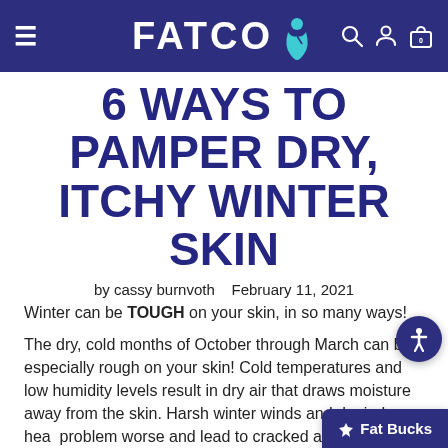FATCO [logo with figure icon]
6 WAYS TO PAMPER DRY, ITCHY WINTER SKIN
by cassy burnvoth   February 11, 2021
Winter can be TOUGH on your skin, in so many ways!
The dry, cold months of October through March can be especially rough on your skin! Cold temperatures and low humidity levels result in dry air that draws moisture away from the skin. Harsh winter winds and dry indoor hea… problem worse and lead to cracked and even b…